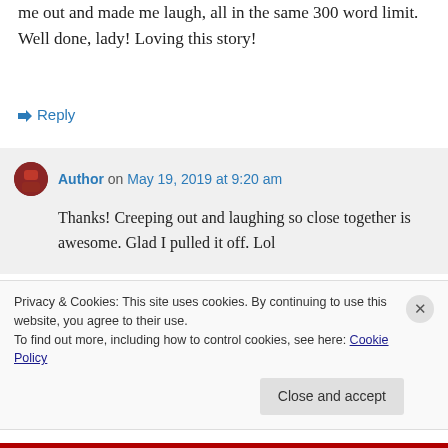me out and made me laugh, all in the same 300 word limit. Well done, lady! Loving this story!
↳ Reply
Author on May 19, 2019 at 9:20 am
Thanks! Creeping out and laughing so close together is awesome. Glad I pulled it off. Lol
Privacy & Cookies: This site uses cookies. By continuing to use this website, you agree to their use.
To find out more, including how to control cookies, see here: Cookie Policy
Close and accept